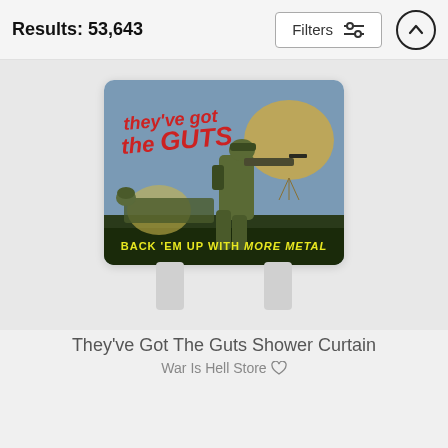Results: 53,643
[Figure (screenshot): Mobile e-commerce search results page showing a product image of a ceramic tile/trivet featuring a WWII propaganda poster that reads 'they've got the GUTS - BACK 'EM UP WITH MORE METAL', displayed on a stand]
They've Got The Guts Shower Curtain
War Is Hell Store ♡